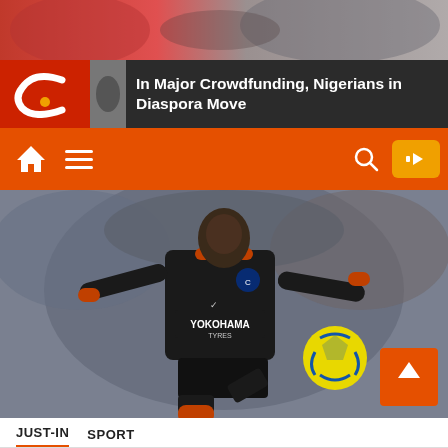[Figure (photo): Top banner strip showing a blurred photo background with red and grey tones]
In Major Crowdfunding, Nigerians in Diaspora Move
[Figure (screenshot): Navigation bar with orange background showing home icon, hamburger menu, search icon, and YouTube button]
[Figure (photo): Chelsea footballer in black Yokohama Tyres jersey controlling a yellow football, arms outstretched]
JUST-IN   SPORT